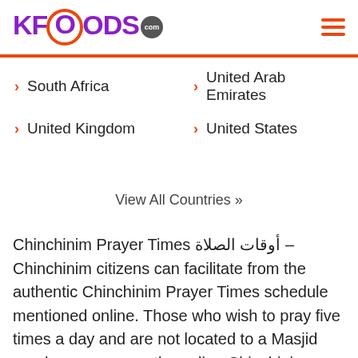KFOODS.com
South Africa
United Arab Emirates
United Kingdom
United States
View All Countries »
Chinchinim Prayer Times أوقات الصلاة – Chinchinim citizens can facilitate from the authentic Chinchinim Prayer Times schedule mentioned online. Those who wish to pray five times a day and are not located to a Masjid nearby, can access the online Chinchinim Prayer Times schedule. Perform your prayers on time, as you can get daily Chinchinim Prayer Times schedule which you can bookmark on your laptop or smart phone. This Prayer Timings